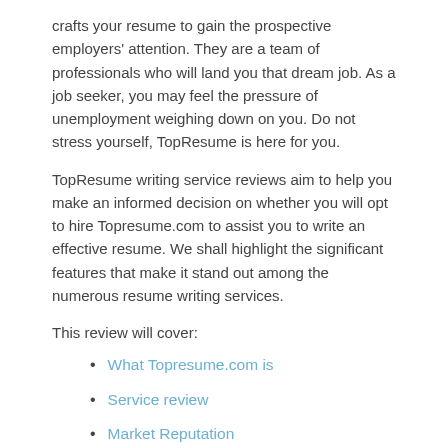crafts your resume to gain the prospective employers' attention. They are a team of professionals who will land you that dream job. As a job seeker, you may feel the pressure of unemployment weighing down on you. Do not stress yourself, TopResume is here for you.
TopResume writing service reviews aim to help you make an informed decision on whether you will opt to hire Topresume.com to assist you to write an effective resume. We shall highlight the significant features that make it stand out among the numerous resume writing services.
This review will cover:
What Topresume.com is
Service review
Market Reputation
The Company guarantees
Quality
Pricing
Extra Services